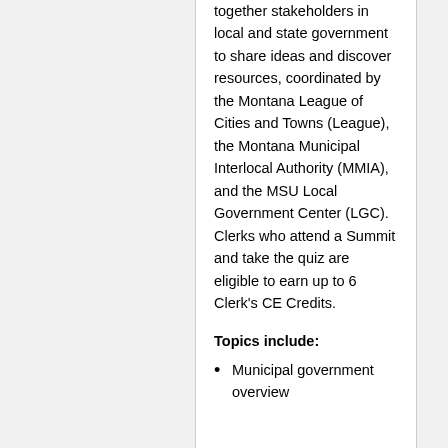together stakeholders in local and state government to share ideas and discover resources, coordinated by the Montana League of Cities and Towns (League), the Montana Municipal Interlocal Authority (MMIA), and the MSU Local Government Center (LGC). Clerks who attend a Summit and take the quiz are eligible to earn up to 6 Clerk's CE Credits.
Topics include:
Municipal government overview